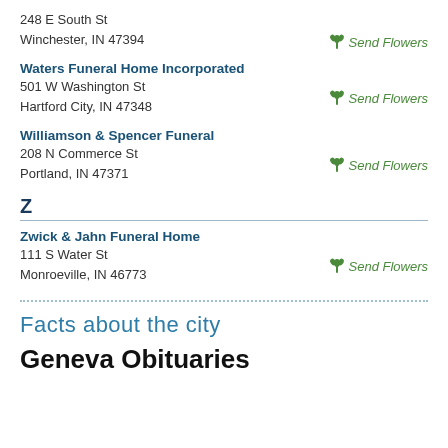248 E South St
Winchester, IN 47394
Send Flowers
Waters Funeral Home Incorporated
501 W Washington St
Hartford City, IN 47348
Send Flowers
Williamson & Spencer Funeral
208 N Commerce St
Portland, IN 47371
Send Flowers
Z
Zwick & Jahn Funeral Home
111 S Water St
Monroeville, IN 46773
Send Flowers
Facts about the city
Geneva Obituaries